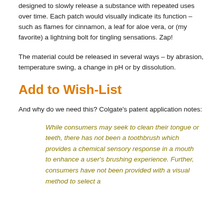designed to slowly release a substance with repeated uses over time. Each patch would visually indicate its function – such as flames for cinnamon, a leaf for aloe vera, or (my favorite) a lightning bolt for tingling sensations. Zap!
The material could be released in several ways – by abrasion, temperature swing, a change in pH or by dissolution.
Add to Wish-List
And why do we need this? Colgate's patent application notes:
While consumers may seek to clean their tongue or teeth, there has not been a toothbrush which provides a chemical sensory response in a mouth to enhance a user's brushing experience. Further, consumers have not been provided with a visual method to select a